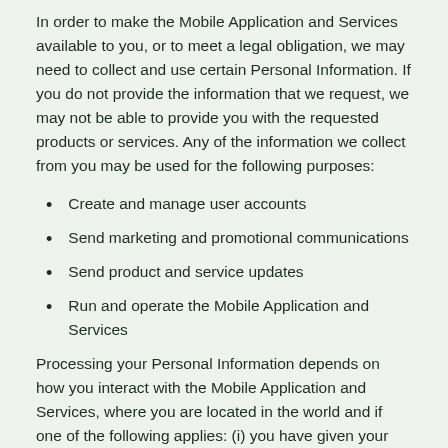In order to make the Mobile Application and Services available to you, or to meet a legal obligation, we may need to collect and use certain Personal Information. If you do not provide the information that we request, we may not be able to provide you with the requested products or services. Any of the information we collect from you may be used for the following purposes:
Create and manage user accounts
Send marketing and promotional communications
Send product and service updates
Run and operate the Mobile Application and Services
Processing your Personal Information depends on how you interact with the Mobile Application and Services, where you are located in the world and if one of the following applies: (i) you have given your consent for one or more specific purposes; this, however, does not apply, whenever the processing of